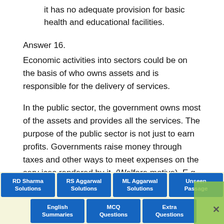it has no adequate provision for basic health and educational facilities.
Answer 16.
Economic activities into sectors could be on the basis of who owns assets and is responsible for the delivery of services.
In the public sector, the government owns most of the assets and provides all the services. The purpose of the public sector is not just to earn profits. Governments raise money through taxes and other ways to meet expenses on the serv ices rendered by it. (Welfare motive). E.g., Railways. In the private
[Figure (infographic): Navigation bar with buttons: RD Sharma Solutions, RS Aggarwal Solutions, ML Aggarwal Solutions, Unseen Passage, English Summaries, MCQ Questions, Extra Questions, and a close button X]